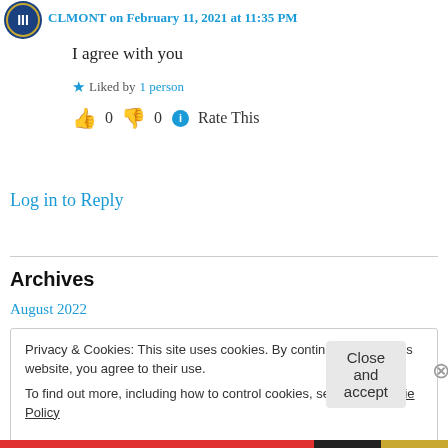CLMONT on February 11, 2021 at 11:35 PM
I agree with you
★ Liked by 1 person
👍 0 👎 0 ℹ Rate This
Log in to Reply
Archives
August 2022
Privacy & Cookies: This site uses cookies. By continuing to use this website, you agree to their use.
To find out more, including how to control cookies, see here: Cookie Policy
Close and accept